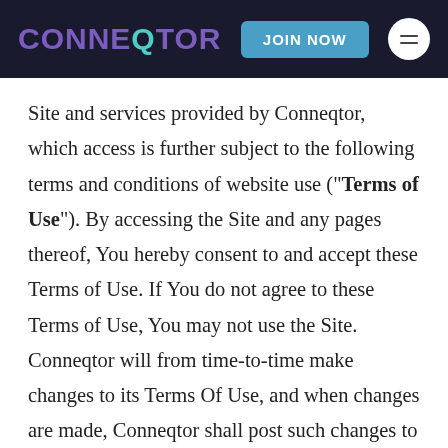CONNEQTOR — JOIN NOW
Site and services provided by Conneqtor, which access is further subject to the following terms and conditions of website use (“Terms of Use”). By accessing the Site and any pages thereof, You hereby consent to and accept these Terms of Use. If You do not agree to these Terms of Use, You may not use the Site. Conneqtor will from time-to-time make changes to its Terms Of Use, and when changes are made, Conneqtor shall post such changes to its Site and request that all users review the same. Then, your continued use of the Site, or any services accessible through it after such posting or notification, shall serve as your explicit consent to the modifications. If You violate any of these Terms of Use, in Coneneqtor’s sole